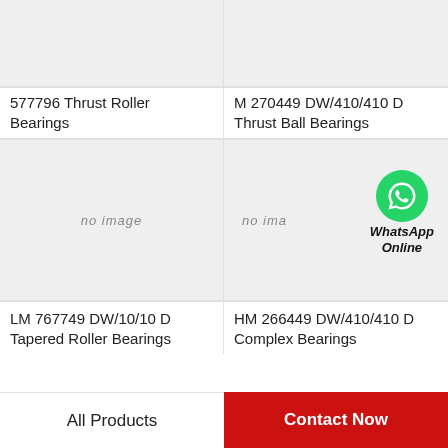[Figure (photo): Product image placeholder (light gray) for 577796 Thrust Roller Bearings]
[Figure (photo): Product image placeholder (light gray) for M 270449 DW/410/410 D Thrust Ball Bearings]
577796 Thrust Roller Bearings
M 270449 DW/410/410 D Thrust Ball Bearings
[Figure (photo): No image placeholder for LM 767749 DW/10/10 D Tapered Roller Bearings]
[Figure (photo): No image placeholder with WhatsApp Online overlay for HM 266449 DW/410/410 D Complex Bearings]
LM 767749 DW/10/10 D Tapered Roller Bearings
HM 266449 DW/410/410 D  Complex Bearings
All Products
Contact Now